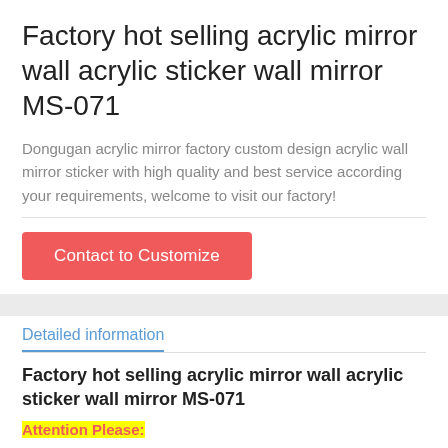Factory hot selling acrylic mirror wall acrylic sticker wall mirror MS-071
Dongugan acrylic mirror factory custom design acrylic wall mirror sticker with high quality and best service according your requirements, welcome to visit our factory!
Contact to Customize
Detailed information
Factory hot selling acrylic mirror wall acrylic sticker wall mirror MS-071
Attention Please:
We don't retail. There is no stock for any items, we only made to